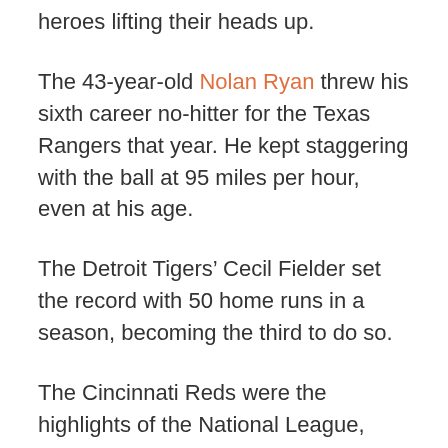heroes lifting their heads up.
The 43-year-old Nolan Ryan threw his sixth career no-hitter for the Texas Rangers that year. He kept staggering with the ball at 95 miles per hour, even at his age.
The Detroit Tigers’ Cecil Fielder set the record with 50 home runs in a season, becoming the third to do so.
The Cincinnati Reds were the highlights of the National League, crushing all competition that year. They took it away with their ‘Nasty Boys’; Norm Charlton, Rob Dibble, and Randy Myers, with the latter two crowned as MVP.
The Oakland Athletics...